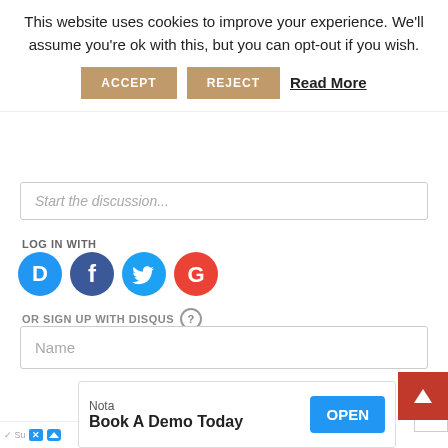This website uses cookies to improve your experience. We'll assume you're ok with this, but you can opt-out if you wish.
ACCEPT   REJECT   Read More
Start the discussion...
LOG IN WITH
[Figure (other): Social login icons: Disqus (D), Facebook (f), Twitter bird, Google (G)]
OR SIGN UP WITH DISQUS ?
Name
Be the first to comment.
Nota
Book A Demo Today   OPEN